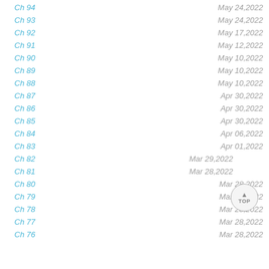Ch 94 | May 24,2022
Ch 93 | May 24,2022
Ch 92 | May 17,2022
Ch 91 | May 12,2022
Ch 90 | May 10,2022
Ch 89 | May 10,2022
Ch 88 | May 10,2022
Ch 87 | Apr 30,2022
Ch 86 | Apr 30,2022
Ch 85 | Apr 30,2022
Ch 84 | Apr 06,2022
Ch 83 | Apr 01,2022
Ch 82 | Mar 29,2022
Ch 81 | Mar 28,2022
Ch 80 | Mar 28,2022
Ch 79 | Mar 28,2022
Ch 78 | Mar 28,2022
Ch 77 | Mar 28,2022
Ch 76 | Mar 28,2022